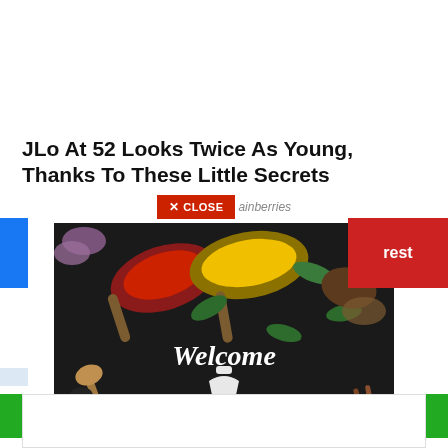JLo At 52 Looks Twice As Young, Thanks To These Little Secrets
[Figure (screenshot): Close button overlay with 'CLOSE' in red background and 'ainberries' text next to it]
[Figure (photo): Welcome to My Site - spices and herbs on dark background with wooden spoons, mortar and pestle illustration]